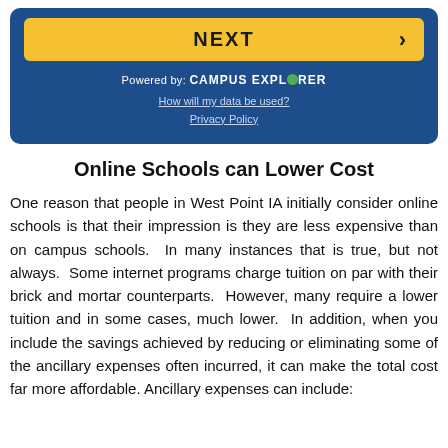[Figure (other): Blue box with yellow NEXT button, Campus Explorer branding, and links for data use and privacy policy]
Online Schools can Lower Cost
One reason that people in West Point IA initially consider online schools is that their impression is they are less expensive than on campus schools.  In many instances that is true, but not always.  Some internet programs charge tuition on par with their brick and mortar counterparts.  However, many require a lower tuition and in some cases, much lower.  In addition, when you include the savings achieved by reducing or eliminating some of the ancillary expenses often incurred, it can make the total cost far more affordable.  Ancillary expenses can include: